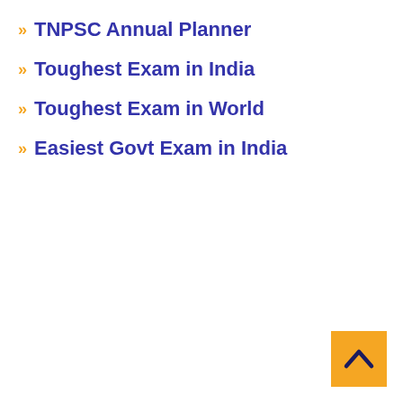TNPSC Annual Planner
Toughest Exam in India
Toughest Exam in World
Easiest Govt Exam in India
[Figure (other): Orange scroll-to-top button with upward chevron arrow in bottom-right corner]